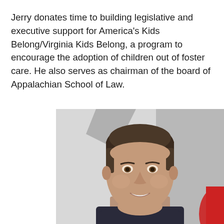Jerry donates time to building legislative and executive support for America's Kids Belong/Virginia Kids Belong, a program to encourage the adoption of children out of foster care. He also serves as chairman of the board of Appalachian School of Law.
[Figure (photo): Professional headshot of a middle-aged man with dark brown hair, smiling, wearing a suit, photographed against a light gray background with a partial red logo visible at right.]